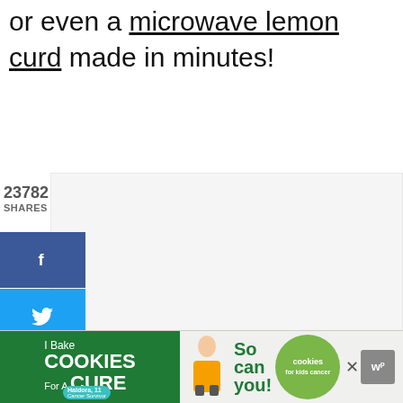or even a microwave lemon curd made in minutes!
23782
SHARES
[Figure (infographic): Social sharing sidebar with Facebook (f), Twitter (bird), Pinterest (p), Yummly (Yum), and Mix (m) buttons]
[Figure (infographic): Heart/like button showing 23.9K and a share button floating on right side]
[Figure (infographic): What's Next panel showing 'Uses for Lemon Curd' with thumbnail]
[Figure (infographic): Ad banner: I Bake COOKIES For A CURE - So can you! cookies for kids cancer, with close X and wp logo]